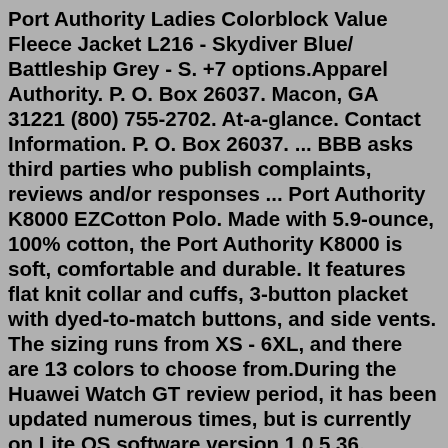Port Authority Ladies Colorblock Value Fleece Jacket L216 - Skydiver Blue/ Battleship Grey - S. +7 options.Apparel Authority. P. O. Box 26037. Macon, GA 31221 (800) 755-2702. At-a-glance. Contact Information. P. O. Box 26037. ... BBB asks third parties who publish complaints, reviews and/or responses ... Port Authority K8000 EZCotton Polo. Made with 5.9-ounce, 100% cotton, the Port Authority K8000 is soft, comfortable and durable. It features flat knit collar and cuffs, 3-button placket with dyed-to-match buttons, and side vents. The sizing runs from XS - 6XL, and there are 13 colors to choose from.During the Huawei Watch GT review period, it has been updated numerous times, but is currently on Lite OS software version 1.0.5.36. Huawei Watch GT review: Design and displayApparel4Print has a huge range of wholesale blank apparel including wholesale graphic tees, trucker hats, tank tops, polos, unisex t-shirts, sweatshirts, hoodies, sport shirts, athletic apparel, jackets, occupational clothing, hats, bags, and much